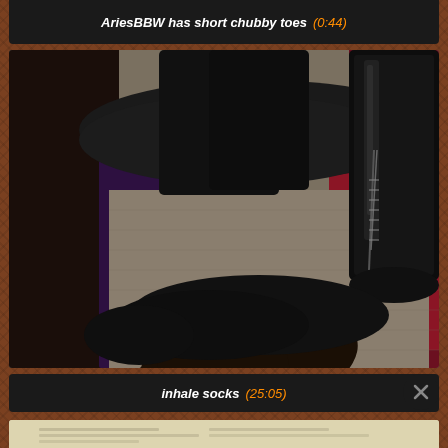AriesBBW has short chubby toes  (0:44)
[Figure (photo): Video thumbnail showing a person lying on the floor with a high leather boot/sock pressing on their face]
inhale socks  (25:05)
[Figure (screenshot): Partial thumbnail of a document/image below]